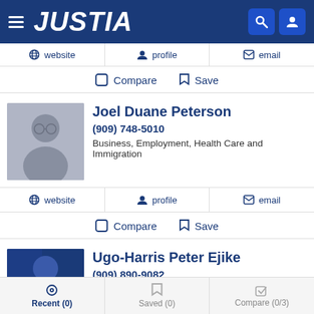JUSTIA
website | profile | email
Compare  Save
Joel Duane Peterson
(909) 748-5010
Business, Employment, Health Care and Immigration
website | profile | email
Compare  Save
Ugo-Harris Peter Ejike
(909) 890-9082
Business, Employment, Probate and Real Estate
Recent (0)  Saved (0)  Compare (0/3)